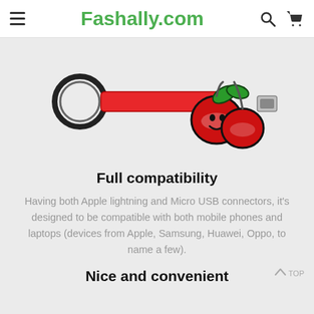Fashally.com
[Figure (photo): A cherry-shaped USB cable keychain with a red flat cable body, metal keyring on one end, and a cherry/fruit rubber charm with USB connector on the other end, photographed on a light gray background.]
Full compatibility
Having both Apple lightning and Micro USB connectors, it’s designed to be compatible with both mobile phones and laptops (devices from Apple, Samsung, Huawei, Oppo, to name a few).
Nice and convenient